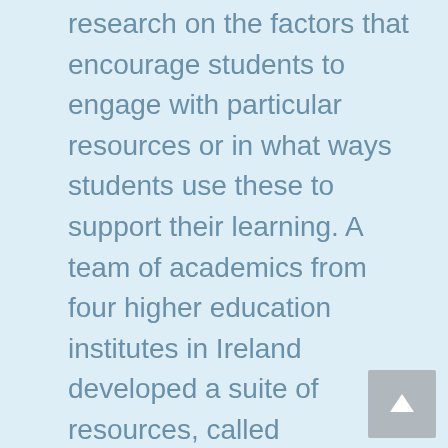research on the factors that encourage students to engage with particular resources or in what ways students use these to support their learning. A team of academics from four higher education institutes in Ireland developed a suite of resources, called Technology-enhanced Resources for Mathematics Education (TeRMEd), for first-year non-specialist mathematics modules. The main aim of this research was to explore why, and in what way, students engaged with these resources to support their learning and to determine